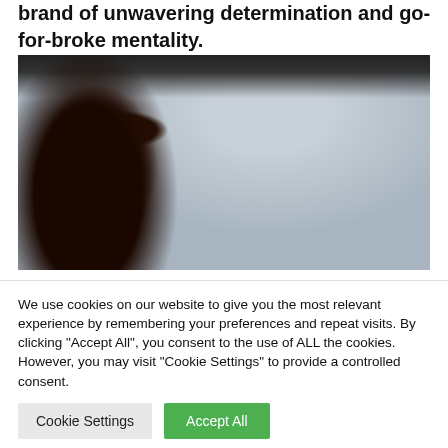brand of unwavering determination and go-for-broke mentality.
[Figure (photo): Person viewed from behind inside a vehicle, wearing a cap, looking out the window towards an ocean/coastal view. A small camera on a mount is visible in the window. The right side shows the steering wheel and car interior. Overcast sky visible through window.]
We use cookies on our website to give you the most relevant experience by remembering your preferences and repeat visits. By clicking "Accept All", you consent to the use of ALL the cookies. However, you may visit "Cookie Settings" to provide a controlled consent.
Cookie Settings | Accept All